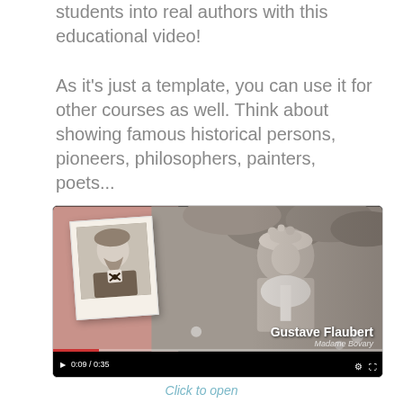students into real authors with this educational video!
As it's just a template, you can use it for other courses as well. Think about showing famous historical persons, pioneers, philosophers, painters, poets...
[Figure (screenshot): Video player showing a scene with a woman in period costume in a black-and-white garden setting, with a polaroid photo of Gustave Flaubert overlaid on a pink/rose background on the left. The video title overlay reads 'Gustave Flaubert' and 'Madame Bovary'. Video controls show play button, time 0:09/0:35, and a progress bar.]
Click to open